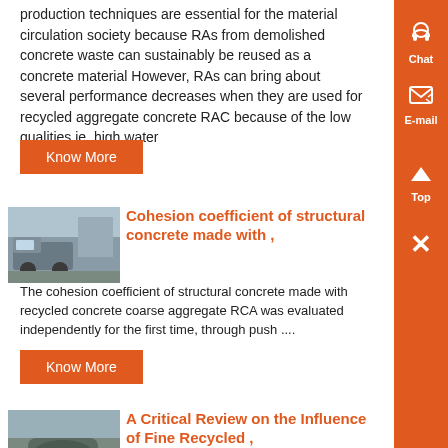production techniques are essential for the material circulation society because RAs from demolished concrete waste can sustainably be reused as a concrete material However, RAs can bring about several performance decreases when they are used for recycled aggregate concrete RAC because of the low qualities ie, high water ,...
Know More
[Figure (photo): Photo of concrete recycling machinery/truck in industrial facility]
Cohesion coefficient of structural concrete made with ,
The cohesion coefficient of structural concrete made with recycled concrete coarse aggregate RCA was evaluated independently for the first time, through push ....
Know More
[Figure (photo): Photo of industrial machinery in facility, bottom article thumbnail]
A Critical Review on the Influence of Fine Recycled ,